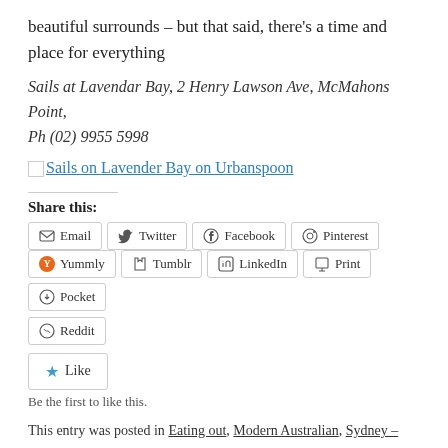beautiful surrounds – but that said, there's a time and place for everything
Sails at Lavendar Bay, 2 Henry Lawson Ave, McMahons Point, Ph (02) 9955 5998
Sails on Lavender Bay on Urbanspoon
Share this:
Email  Twitter  Facebook  Pinterest  Yummly  Tumblr  LinkedIn  Print  Pocket  Reddit
Like
Be the first to like this.
This entry was posted in Eating out, Modern Australian, Sydney –